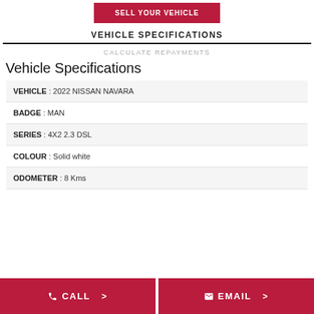SELL YOUR VEHICLE
VEHICLE SPECIFICATIONS
CALCULATE REPAYMENTS
Vehicle Specifications
| VEHICLE : 2022 NISSAN NAVARA |
| BADGE : MAN |
| SERIES : 4X2 2.3 DSL |
| COLOUR : Solid white |
| ODOMETER : 8 Kms |
CALL >
EMAIL >